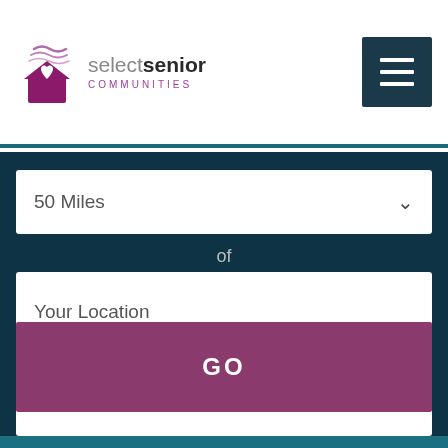[Figure (logo): Select Senior Communities logo with house icon and wavy lines above]
[Figure (other): Hamburger menu button (dark navy square with three white lines)]
50 Miles
of
Your Location
All Facilities
GO